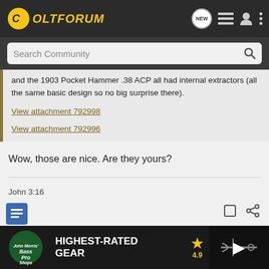ColtForum
and the 1903 Pocket Hammer .38 ACP all had internal extractors (all the same basic design so no big surprise there).
View attachment 792998
View attachment 792996
Wow, those are nice. Are they yours?
John 3:16